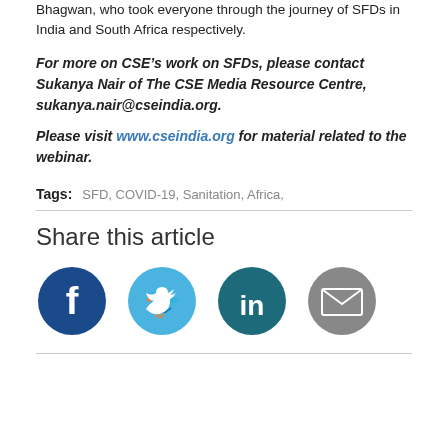Bhagwan, who took everyone through the journey of SFDs in India and South Africa respectively.
For more on CSE’s work on SFDs, please contact Sukanya Nair of The CSE Media Resource Centre, sukanya.nair@cseindia.org.
Please visit www.cseindia.org for material related to the webinar.
Tags: SFD, COVID-19, Sanitation, Africa,
Share this article
[Figure (infographic): Four social media share icons: Facebook (dark blue), Twitter (light blue), LinkedIn (teal/dark blue), Email (grey)]